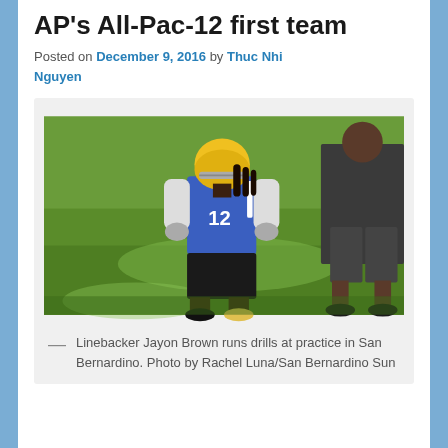AP's All-Pac-12 first team
Posted on December 9, 2016 by Thuc Nhi Nguyen
[Figure (photo): Linebacker Jayon Brown running drills on a grass field wearing UCLA blue jersey number 12 during practice in San Bernardino]
Linebacker Jayon Brown runs drills at practice in San Bernardino. Photo by Rachel Luna/San Bernardino Sun